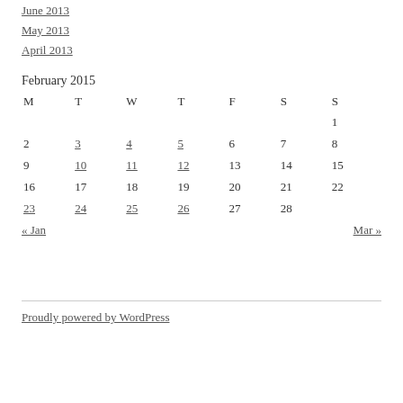June 2013
May 2013
April 2013
| M | T | W | T | F | S | S |
| --- | --- | --- | --- | --- | --- | --- |
|  |  |  |  |  |  | 1 |
| 2 | 3 | 4 | 5 | 6 | 7 | 8 |
| 9 | 10 | 11 | 12 | 13 | 14 | 15 |
| 16 | 17 | 18 | 19 | 20 | 21 | 22 |
| 23 | 24 | 25 | 26 | 27 | 28 |  |
« Jan    Mar »
Proudly powered by WordPress